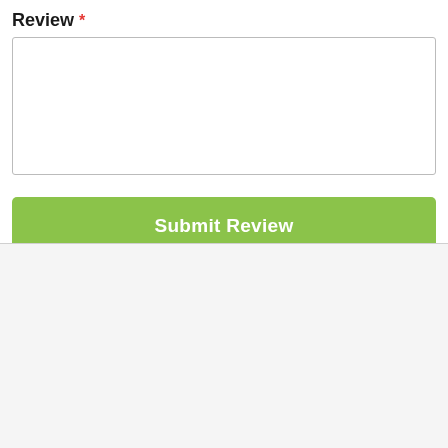Review *
[Figure (screenshot): Empty textarea input field for review text]
[Figure (screenshot): Green 'Submit Review' button]